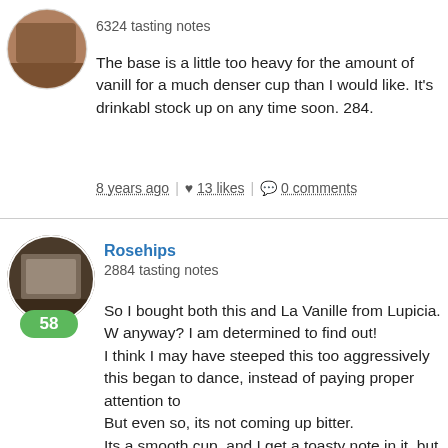6324 tasting notes
The base is a little too heavy for the amount of vanilla, for a much denser cup than I would like. It's drinkable, stock up on any time soon. 284.
8 years ago | ♥ 13 likes | 💬 0 comments
Rosehips
2884 tasting notes
So I bought both this and La Vanille from Lupicia. W anyway? I am determined to find out!
I think I may have steeped this too aggressively this began to dance, instead of paying proper attention to. But even so, its not coming up bitter.
Its a smooth cup, and I get a toasty note in it, but ve Hmm. Pleasant, and I do get a familer note, but wha right now.